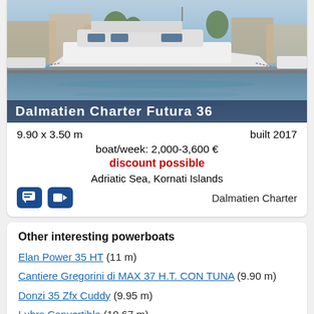[Figure (photo): Photo of a white motorboat/catamaran docked in a marina with other boats and buildings in the background. Text overlay reads 'Dalmatien Charter Futura 36']
9.90 x 3.50 m    built 2017
boat/week: 2,000-3,600 €
discount possible
Adriatic Sea, Kornati Islands
Dalmatien Charter
Other interesting powerboats
Elan Power 35 HT (11 m)
Cantiere Gregorini di MAX 37 H.T. CON TUNA (9.90 m)
Donzi 35 Zfx Cuddy (9.95 m)
Luhrs Convertible (10.67 m)
Nimbus 320 Coupe (9.70 m)